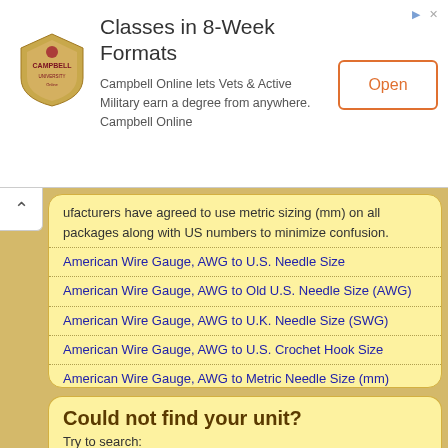[Figure (other): Campbell University online advertisement banner with logo, text about 8-week classes for Veterans and Military, and Open button]
ufacturers have agreed to use metric sizing (mm) on all packages along with US numbers to minimize confusion.
American Wire Gauge, AWG to U.S. Needle Size
American Wire Gauge, AWG to Old U.S. Needle Size (AWG)
American Wire Gauge, AWG to U.K. Needle Size (SWG)
American Wire Gauge, AWG to U.S. Crochet Hook Size
American Wire Gauge, AWG to Metric Needle Size (mm)
Could not find your unit?
Try to search: